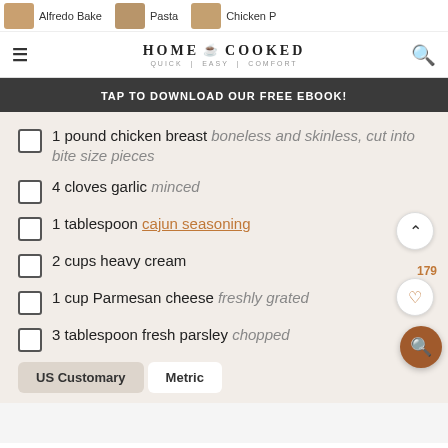HOME COOKED — QUICK | EASY | COMFORT
TAP TO DOWNLOAD OUR FREE EBOOK!
1 pound chicken breast boneless and skinless, cut into bite size pieces
4 cloves garlic minced
1 tablespoon cajun seasoning
2 cups heavy cream
1 cup Parmesan cheese freshly grated
3 tablespoon fresh parsley chopped
US Customary   Metric